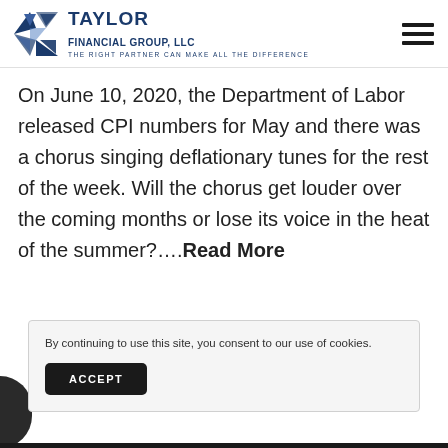Taylor Financial Group, LLC — The Right Partner Can Make All The Difference
On June 10, 2020, the Department of Labor released CPI numbers for May and there was a chorus singing deflationary tunes for the rest of the week. Will the chorus get louder over the coming months or lose its voice in the heat of the summer?....Read More
By continuing to use this site, you consent to our use of cookies.
ACCEPT